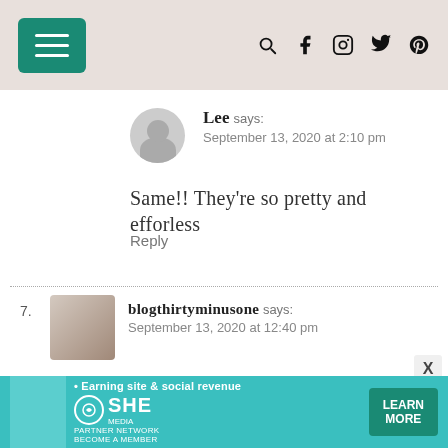Navigation header with hamburger menu and social icons
Lee says:
September 13, 2020 at 2:10 pm
Same!! They’re so pretty and efforless
Reply
7. blogthirtyminusone says:
September 13, 2020 at 12:40 pm
I’m excited for metallics. They are always fun to wear. 😊
[Figure (advertisement): SHE Media Partner Network banner ad with teal background, person photo, earning site and social revenue text, SHE logo, and Learn More button]